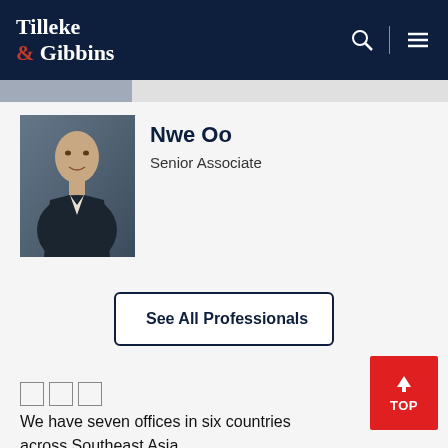Tilleke & Gibbins
[Figure (photo): Profile photo of Nwe Oo, a man in a suit against a dark background]
Nwe Oo
Senior Associate
See All Professionals
↑ TOP
We have seven offices in six countries across Southeast Asia.